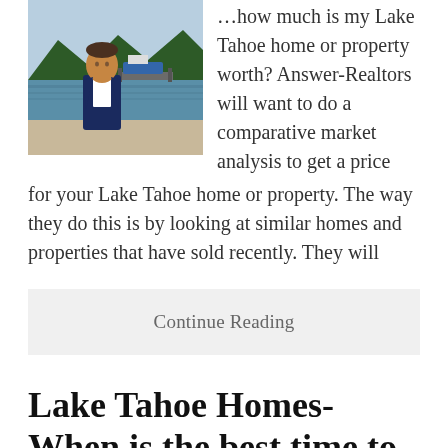[Figure (photo): Man in dark suit standing by a lake with boats and trees in background]
…how much is my Lake Tahoe home or property worth? Answer-Realtors will want to do a comparative market analysis to get a price for your Lake Tahoe home or property. The way they do this is by looking at similar homes and properties that have sold recently. They will
Continue Reading
Lake Tahoe Homes-When is the best time to buy?
November 15, 2018 by admin — Leave a Comment